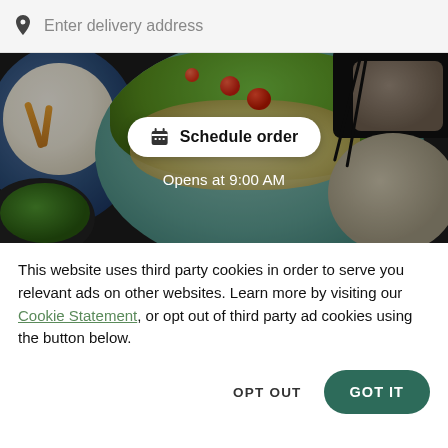Enter delivery address
[Figure (photo): Food delivery app screenshot showing bowls of Asian food with a 'Schedule order' button overlay and 'Opens at 9:00 AM' text]
This website uses third party cookies in order to serve you relevant ads on other websites. Learn more by visiting our Cookie Statement, or opt out of third party ad cookies using the button below.
OPT OUT
GOT IT